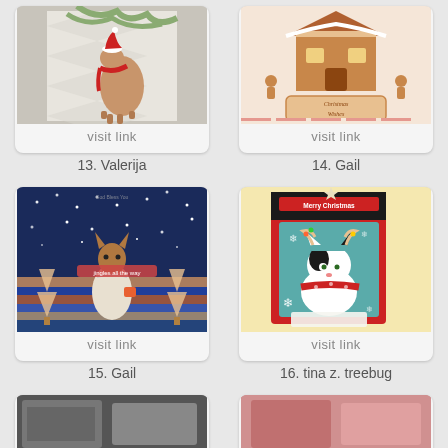[Figure (photo): Handmade Christmas card with a deer wearing a Santa hat and red scarf among pine branches]
visit link
13. Valerija
[Figure (photo): Handmade Christmas card with a gingerbread house and 'Christmas Wishes' text, popup style]
visit link
14. Gail
[Figure (photo): Handmade Christmas card with a dog/llama in a robe, 'Jingles all the way', blue starry night background with Christmas trees]
visit link
15. Gail
[Figure (photo): Handmade Christmas card with a cat wearing antlers and a scarf, 'Merry Christmas' banner, snowflakes on teal/red background]
visit link
16. tina z. treebug
[Figure (photo): Partial view of handmade Christmas card (row 3, left), partially cut off]
[Figure (photo): Partial view of handmade Christmas card (row 3, right), partially cut off]